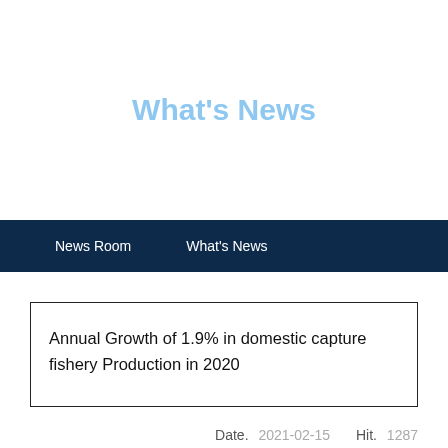What's News
News Room   What's News
Annual Growth of 1.9% in domestic capture fishery Production in 2020
Date.  2021-02-15   Hit.  1287